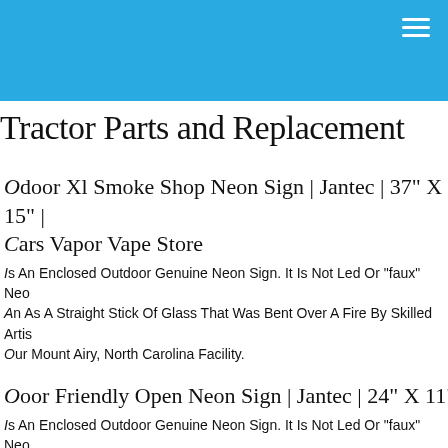Tractor Parts and Replacement
Outdoor Xl Smoke Shop Neon Sign | Jantec | 37" X 15" | Cars Vapor Vape Store
Is An Enclosed Outdoor Genuine Neon Sign. It Is Not Led Or "faux" Neon As A Straight Stick Of Glass That Was Bent Over A Fire By Skilled Artists ur Mount Airy, North Carolina Facility.
Outdoor Friendly Open Neon Sign | Jantec | 24" X 11" | Hair Salon Spa Gift S
Is An Enclosed Outdoor Genuine Neon Sign. It Is Not Led Or "faux" Neon An As A Straight Stick Of Glass That Was Bent Over A Fire By Skilled Artists ur Mount Airy, North Carolina Facility.
Coffee With Cup Neon Sign | Jantec | 30" X 24" | Coffee Shop Cafe Espresso